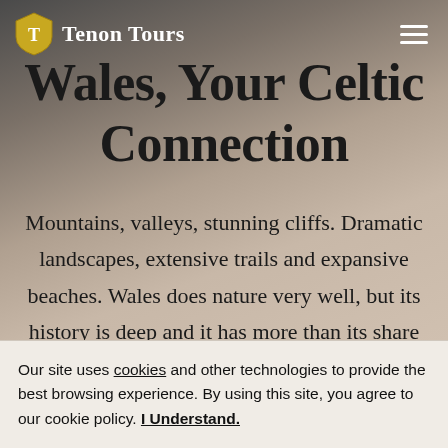Tenon Tours
Wales, Your Celtic Connection
Mountains, valleys, stunning cliffs. Dramatic landscapes, extensive trails and expansive beaches. Wales does nature very well, but its history is deep and it has more than its share of stories to live and explore. For starters, did you know that Wales is considered the Castle Capital
Our site uses cookies and other technologies to provide the best browsing experience. By using this site, you agree to our cookie policy. I Understand.